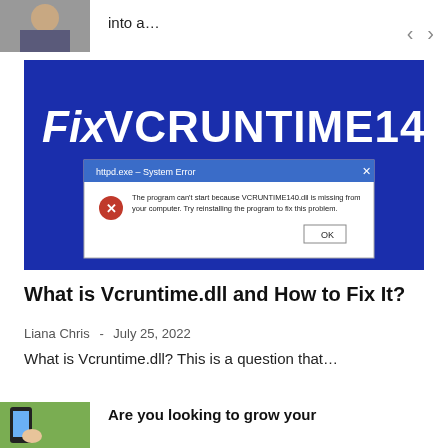[Figure (screenshot): Thumbnail image of a person, partially visible at top left]
into a…
[Figure (screenshot): Blue background banner image showing 'Fix VCRUNTIME140.DLL' text with a Windows System Error dialog box showing: 'The program can't start because VCRUNTIME140.dll is missing from your computer. Try reinstalling the program to fix this problem.' with an OK button.]
What is Vcruntime.dll and How to Fix It?
Liana Chris - July 25, 2022
What is Vcruntime.dll? This is a question that…
[Figure (photo): Thumbnail image showing a hand holding a phone, green/outdoor background]
Are you looking to grow your